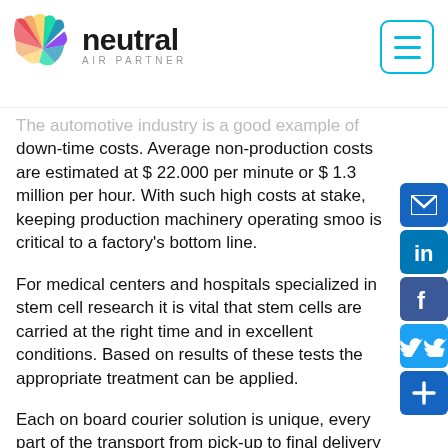[Figure (logo): Neutral Air Partner logo with colorful wing icon and text]
The automotive industry is a good example of down-time costs. Average non-production costs are estimated at $ 22.000 per minute or $ 1.3 million per hour. With such high costs at stake, keeping production machinery operating smoo is critical to a factory's bottom line.
For medical centers and hospitals specialized in stem cell research it is vital that stem cells are carried at the right time and in excellent conditions. Based on results of these tests the appropriate treatment can be applied.
Each on board courier solution is unique, every part of the transport from pick-up to final delivery has been created individually to meet customer